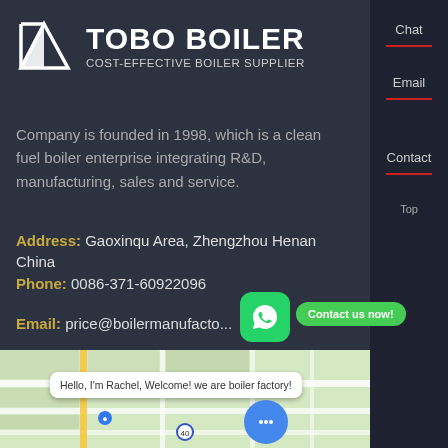[Figure (logo): TOBO BOILER logo with triangular icon and text 'TOBO BOILER' and subtitle 'COST-EFFECTIVE BOILER SUPPLIER']
Company is founded in 1998, which is a clean fuel boiler enterprise integrating R&D, manufacturing, sales and service.
Address: Gaoxinqu Area, Zhengzhou Henan China
Phone: 0086-371-60922096
Email: price@boilermanufacto...
[Figure (map): Street map showing location in Gaoxinqu Area, Zhengzhou Henan China with road grid]
Hello, I'm Rachel, Welcome! we are boiler factory!
[Figure (infographic): WhatsApp chat bubble contact widget with 'Contact us now!' button]